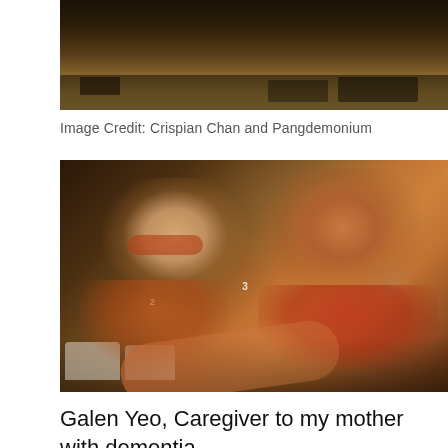[Figure (photo): Top portion of a dark indoor photo showing the floor/stage of an auditorium with people's feet and legs visible, dark background]
Image Credit: Crispian Chan and Pangdemonium
[Figure (photo): Selfie photo of two people: an elderly woman with short grey hair and orange-tinted glasses wearing an orange outfit, and a middle-aged man in a red polo shirt, both smiling, seated in an auditorium with other audience members visible in background]
Galen Yeo, Caregiver to my mother with dementia